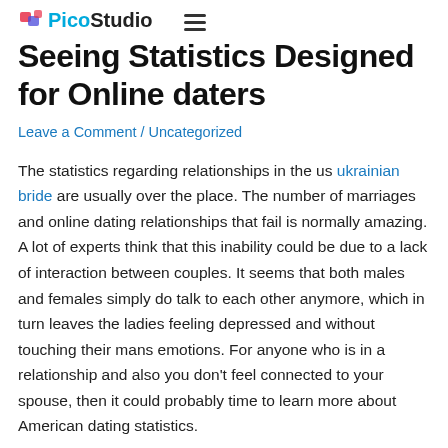PicoStudio
Seeing Statistics Designed for Online daters
Leave a Comment / Uncategorized
The statistics regarding relationships in the us ukrainian bride are usually over the place. The number of marriages and online dating relationships that fail is normally amazing. A lot of experts think that this inability could be due to a lack of interaction between couples. It seems that both males and females simply do talk to each other anymore, which in turn leaves the ladies feeling depressed and without touching their mans emotions. For anyone who is in a relationship and also you don't feel connected to your spouse, then it could probably time to learn more about American dating statistics.
When males say they are thinking about women, they often times